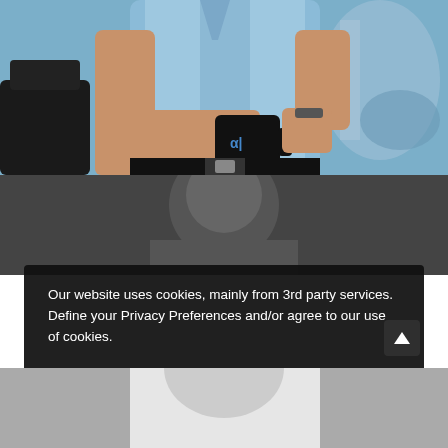[Figure (photo): Photo of a man in a light blue short-sleeve shirt holding a black mug with a logo, standing in an office or showroom environment. Only the torso and hands are visible.]
[Figure (photo): Partially visible photo of a second person in a dark setting, obscured by the cookie consent banner overlay.]
Our website uses cookies, mainly from 3rd party services. Define your Privacy Preferences and/or agree to our use of cookies.
Privacy Preferences
I Agree
[Figure (photo): Partially visible photo at the bottom of the page showing a person in a white shirt.]